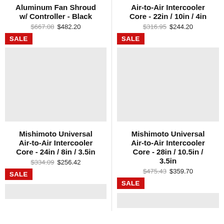Aluminum Fan Shroud w/ Controller - Black
$667.08 $482.20
SALE
[Figure (photo): Product image placeholder - light grey box]
Mishimoto Universal Air-to-Air Intercooler Core - 24in / 8in / 3.5in
$334.09 $256.42
SALE
Air-to-Air Intercooler Core - 22in / 10in / 4in
$316.95 $244.20
SALE
[Figure (photo): Product image placeholder - light grey box]
Mishimoto Universal Air-to-Air Intercooler Core - 28in / 10.5in / 3.5in
$475.43 $359.70
SALE